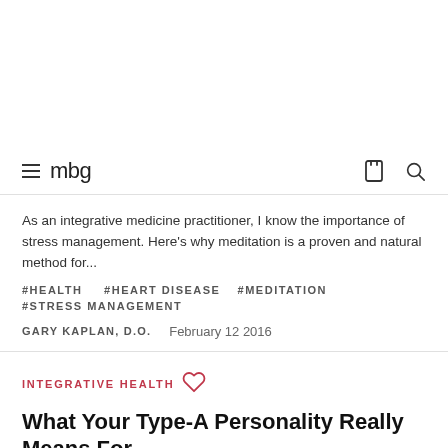mbg
As an integrative medicine practitioner, I know the importance of stress management. Here's why meditation is a proven and natural method for...
#HEALTH  #HEART DISEASE  #MEDITATION  #STRESS MANAGEMENT
GARY KAPLAN, D.O.   February 12 2016
INTEGRATIVE HEALTH
What Your Type-A Personality Really Means For